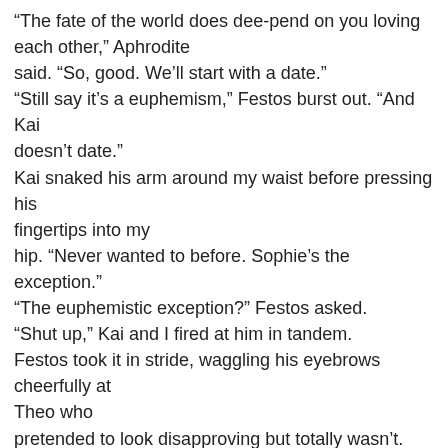“The fate of the world does dee-pend on you loving each other,” Aphrodite said. “So, good. We’ll start with a date.” “Still say it’s a euphemism,” Festos burst out. “And Kai doesn’t date.” Kai snaked his arm around my waist before pressing his fingertips into my hip. “Never wanted to before. Sophie’s the exception.” “The euphemistic exception?” Festos asked. “Shut up,” Kai and I fired at him in tandem. Festos took it in stride, waggling his eyebrows cheerfully at Theo who pretended to look disapproving but totally wasn’t. Even Hannah didn’t bother to hide her smile. “Only thing is,” I told Aphrodite, “I have to be back at school by Sunday morning. I have a meeting I can’t miss. So I’ll have to get this thing with Jack done quickly to have time for the date.” “Going together to find Hermes is the date.” Aphrodite looked at me like I